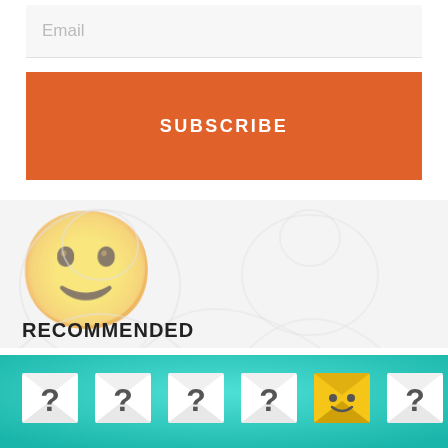Email
SUBSCRIBE
RECOMMENDED
[Figure (photo): A teal/turquoise background image showing a row of envelope-shaped cards with question marks on them, and one yellow smiley face card, partially visible at the bottom of the page.]